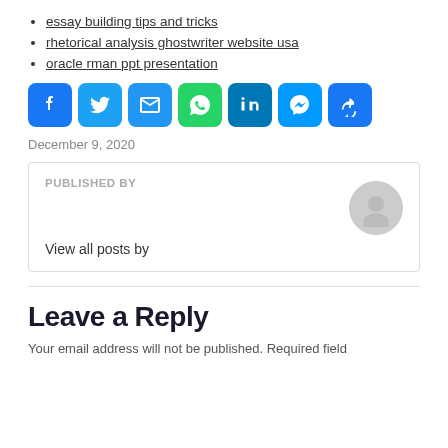essay building tips and tricks
rhetorical analysis ghostwriter website usa
oracle rman ppt presentation
[Figure (infographic): Row of 7 social sharing icon buttons: Facebook (blue), Twitter (blue), Email (blue), WhatsApp (green), LinkedIn (blue), Messenger (blue), Share/More (blue)]
December 9, 2020
PUBLISHED BY
View all posts by
Leave a Reply
Your email address will not be published. Required fields